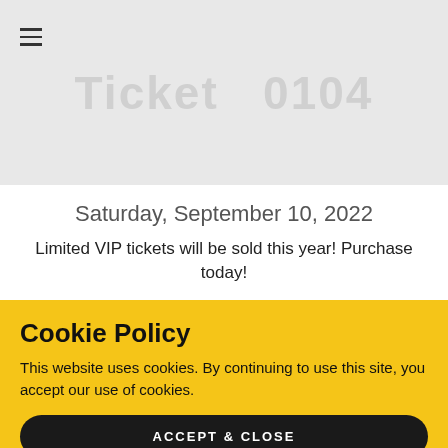[Figure (screenshot): Grey banner showing partial text '...ISM (1:5PM)' at top and large bold text 'Ticket 0104' below, with a hamburger menu icon on the left]
Saturday, September 10, 2022
Limited VIP tickets will be sold this year! Purchase today!
Cookie Policy
This website uses cookies. By continuing to use this site, you accept our use of cookies.
ACCEPT & CLOSE